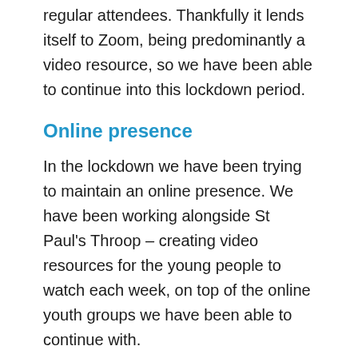regular attendees. Thankfully it lends itself to Zoom, being predominantly a video resource, so we have been able to continue into this lockdown period.
Online presence
In the lockdown we have been trying to maintain an online presence. We have been working alongside St Paul's Throop – creating video resources for the young people to watch each week, on top of the online youth groups we have been able to continue with.
Looking to the future and post-lockdown, one of my priorities is to support individual young people and do more one-to-one sessions. I also want to explore the possibilities of working on schools and how we might